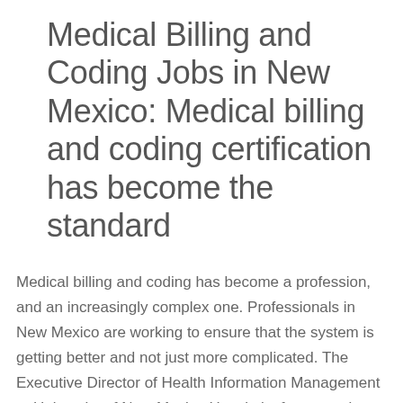Medical Billing and Coding Jobs in New Mexico: Medical billing and coding certification has become the standard
Medical billing and coding has become a profession, and an increasingly complex one. Professionals in New Mexico are working to ensure that the system is getting better and not just more complicated. The Executive Director of Health Information Management at University of New Mexico Hospitals, for example, has been active in making systemic changes that help precise coding systems realize their potential for